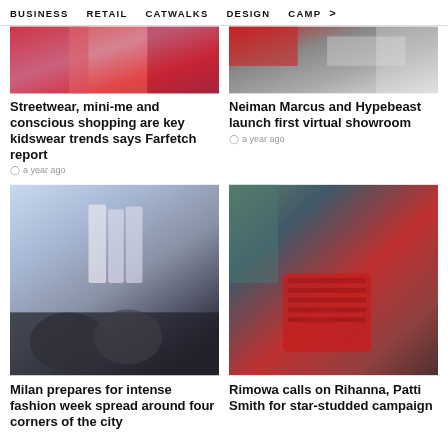BUSINESS   RETAIL   CATWALKS   DESIGN   CAMP  >
[Figure (photo): Colorful fashion/kidswear photo with red and pink tones]
Streetwear, mini-me and conscious shopping are key kidswear trends says Farfetch report
a year ago
[Figure (photo): Neiman Marcus and Hypebeast virtual showroom image with flags/patterns]
Neiman Marcus and Hypebeast launch first virtual showroom
a year ago
[Figure (photo): Fashion week runway show in Milan with models in white outfits and audience]
Milan prepares for intense fashion week spread around four corners of the city
[Figure (photo): Rihanna in a car holding a red Rimowa suitcase for a campaign]
Rimowa calls on Rihanna, Patti Smith for star-studded campaign